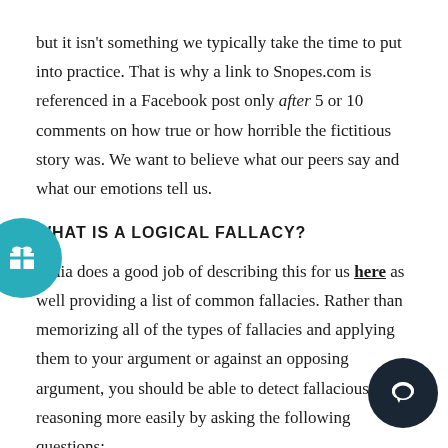but it isn't something we typically take the time to put into practice. That is why a link to Snopes.com is referenced in a Facebook post only after 5 or 10 comments on how true or how horrible the fictitious story was. We want to believe what our peers say and what our emotions tell us.
WHAT IS A LOGICAL FALLACY?
pedia does a good job of describing this for us here as well providing a list of common fallacies. Rather than memorizing all of the types of fallacies and applying them to your argument or against an opposing argument, you should be able to detect fallacious reasoning more easily by asking the following questions:
1. What answer am I looking for?